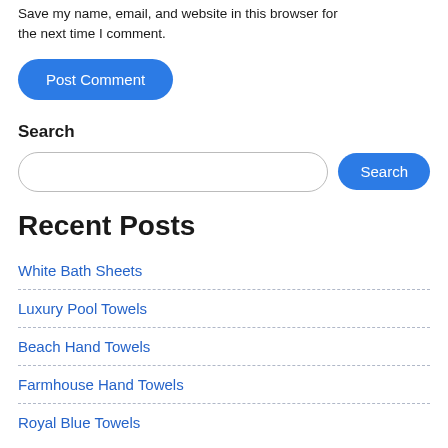Save my name, email, and website in this browser for the next time I comment.
Post Comment
Search
Search
Recent Posts
White Bath Sheets
Luxury Pool Towels
Beach Hand Towels
Farmhouse Hand Towels
Royal Blue Towels